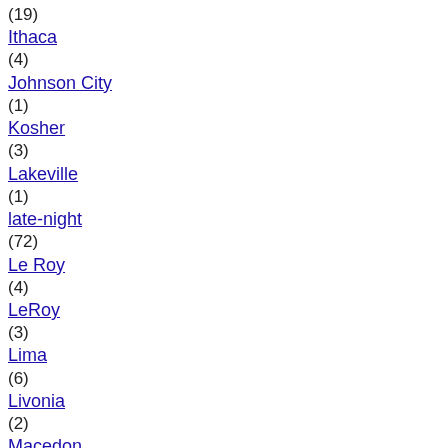(19)
Ithaca
(4)
Johnson City
(1)
Kosher
(3)
Lakeville
(1)
late-night
(72)
Le Roy
(4)
LeRoy
(3)
Lima
(6)
Livonia
(2)
Macedon
(2)
margherita
(57)
Marion
(1)